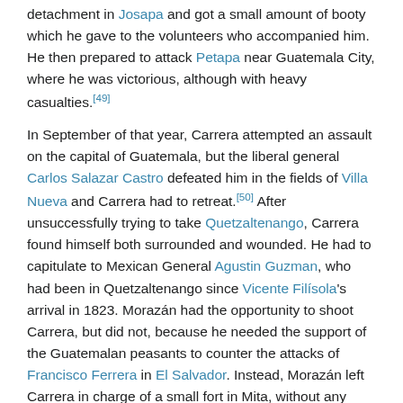detachment in Josapa and got a small amount of booty which he gave to the volunteers who accompanied him. He then prepared to attack Petapa near Guatemala City, where he was victorious, although with heavy casualties.[49]
In September of that year, Carrera attempted an assault on the capital of Guatemala, but the liberal general Carlos Salazar Castro defeated him in the fields of Villa Nueva and Carrera had to retreat.[50] After unsuccessfully trying to take Quetzaltenango, Carrera found himself both surrounded and wounded. He had to capitulate to Mexican General Agustin Guzman, who had been in Quetzaltenango since Vicente Filisola's arrival in 1823. Morazán had the opportunity to shoot Carrera, but did not, because he needed the support of the Guatemalan peasants to counter the attacks of Francisco Ferrera in El Salvador. Instead, Morazán left Carrera in charge of a small fort in Mita, without any weapons. Knowing that Morazán was going to attack El Salvador, Francisco Ferrera gave arms and ammunition to Carrera and convinced him to attack Guatemala City.[51]
Meanwhile, despite insistent advice to definitively crush Carrera and his forces, Salazar tried to negotiate with him diplomatically; he even went as far as to show that he neither feared nor distrusted Carrera by removing the fortifications of the